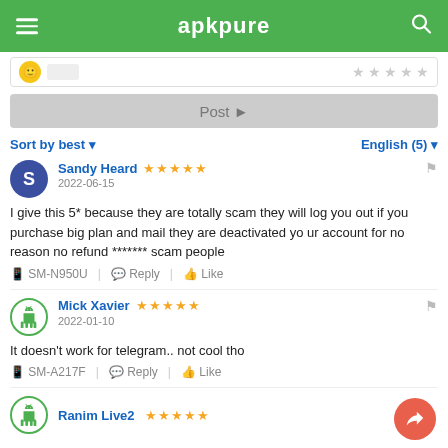apkpure
[Figure (screenshot): Top bar with emoji icon and star rating input]
Post ▶
Sort by best ▼   English (5) ▼
Sandy Heard ★★★★★ 2022-06-15
I give this 5* because they are totally scam they will log you out if you purchase big plan and mail they are deactivated your account for no reason no refund ******* scam people
📱 SM-N950U  Reply  Like
Mick Xavier ★★★★★ 2022-01-10
It doesn't work for telegram.. not cool tho
📱 SM-A217F  Reply  Like
Ranim Live2 ★★★★★